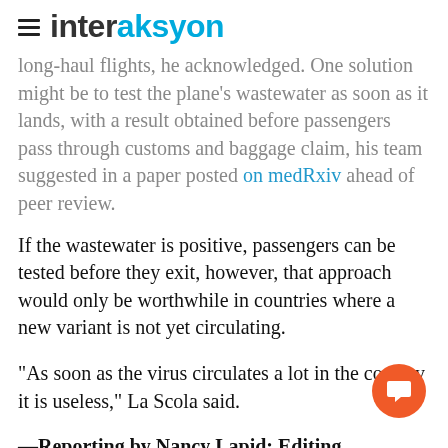interaksyon
long-haul flights, he acknowledged. One solution might be to test the plane's wastewater as soon as it lands, with a result obtained before passengers pass through customs and baggage claim, his team suggested in a paper posted on medRxiv ahead of peer review.
If the wastewater is positive, passengers can be tested before they exit, however, that approach would only be worthwhile in countries where a new variant is not yet circulating.
"As soon as the virus circulates a lot in the country it is useless," La Scola said.
—Reporting by Nancy Lapid; Editing by Bill [partially obscured]t